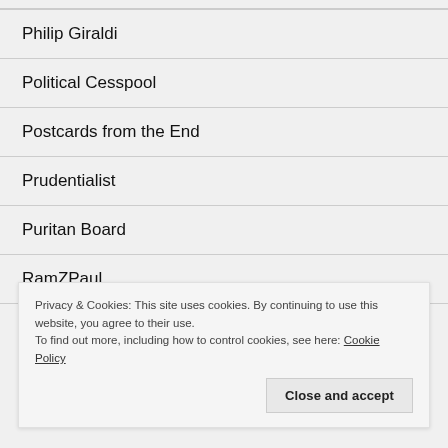Philip Giraldi
Political Cesspool
Postcards from the End
Prudentialist
Puritan Board
RamZPaul
Ranier CVK
Privacy & Cookies: This site uses cookies. By continuing to use this website, you agree to their use.
To find out more, including how to control cookies, see here: Cookie Policy
Close and accept